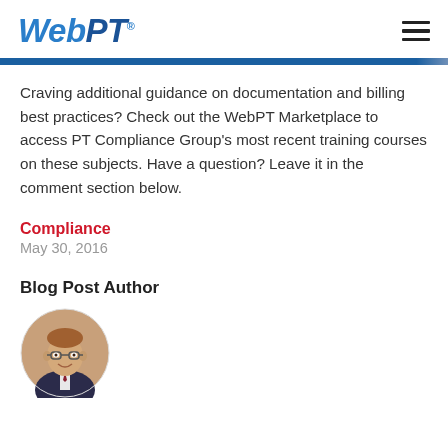WebPT
Craving additional guidance on documentation and billing best practices? Check out the WebPT Marketplace to access PT Compliance Group’s most recent training courses on these subjects. Have a question? Leave it in the comment section below.
Compliance
May 30, 2016
Blog Post Author
[Figure (photo): Circular headshot photo of a smiling middle-aged man with glasses wearing a suit and tie]